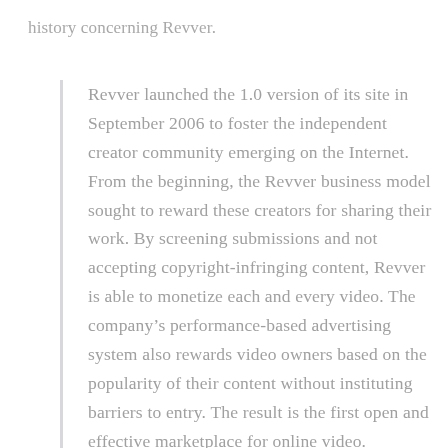history concerning Revver.
Revver launched the 1.0 version of its site in September 2006 to foster the independent creator community emerging on the Internet. From the beginning, the Revver business model sought to reward these creators for sharing their work. By screening submissions and not accepting copyright-infringing content, Revver is able to monetize each and every video. The company’s performance-based advertising system also rewards video owners based on the popularity of their content without instituting barriers to entry. The result is the first open and effective marketplace for online video.